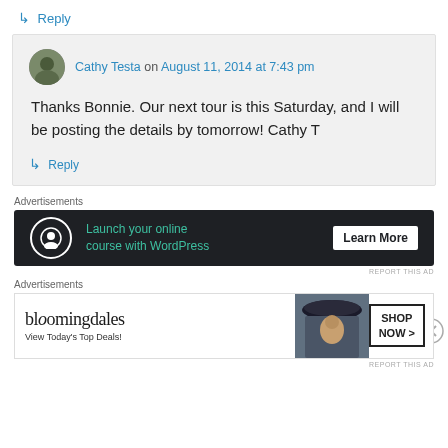↳ Reply
Cathy Testa on August 11, 2014 at 7:43 pm
Thanks Bonnie. Our next tour is this Saturday, and I will be posting the details by tomorrow! Cathy T
↳ Reply
Advertisements
[Figure (other): Dark banner ad: Launch your online course with WordPress - Learn More button]
Advertisements
[Figure (other): Bloomingdale's ad: View Today's Top Deals! SHOP NOW >]